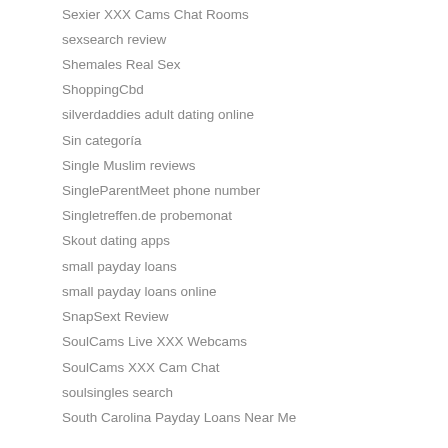Sexier XXX Cams Chat Rooms
sexsearch review
Shemales Real Sex
ShoppingCbd
silverdaddies adult dating online
Sin categoría
Single Muslim reviews
SingleParentMeet phone number
Singletreffen.de probemonat
Skout dating apps
small payday loans
small payday loans online
SnapSext Review
SoulCams Live XXX Webcams
SoulCams XXX Cam Chat
soulsingles search
South Carolina Payday Loans Near Me